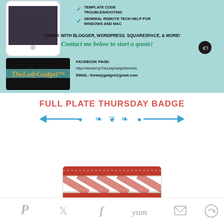[Figure (infographic): Lady Gadget tech services advertisement banner with teal background, phone image, checkmarks for services including Template Code Troubleshooting and General Remote Tech Help for Windows and Mac, text about working with Blogger, WordPress, Squarespace and more, contact quote, logo, Facebook page and email contact info]
FULL PLATE THURSDAY BADGE
[Figure (illustration): Decorative blue ornamental divider with arrows pointing left and right and scrollwork in the center]
[Figure (photo): Partial view of Full Plate Thursday badge image showing red and white striped pattern]
[Figure (infographic): Social sharing bar with icons for Pinterest, Twitter, Facebook, Yummly, Email, and More options]